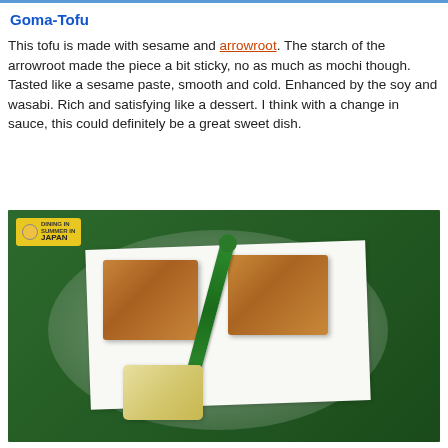Goma-Tofu
This tofu is made with sesame and arrowroot. The starch of the arrowroot made the piece a bit sticky, no as much as mochi though. Tasted like a sesame paste, smooth and cold. Enhanced by the soy and wasabi. Rich and satisfying like a dessert. I think with a change in sauce, this could definitely be a great sweet dish.
[Figure (photo): Photo of goma-tofu dish on a glass plate: two brown tofu cubes, a long green pepper, and a small garnish of rice or salad, served on white paper/napkin. A yellow blog watermark badge is in the top-left corner of the image.]